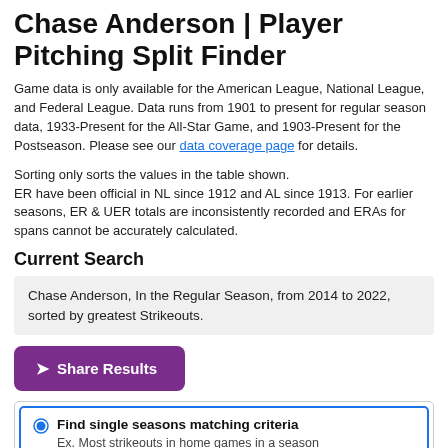Chase Anderson | Player Pitching Split Finder
Game data is only available for the American League, National League, and Federal League. Data runs from 1901 to present for regular season data, 1933-Present for the All-Star Game, and 1903-Present for the Postseason. Please see our data coverage page for details.
Sorting only sorts the values in the table shown.
ER have been official in NL since 1912 and AL since 1913. For earlier seasons, ER & UER totals are inconsistently recorded and ERAs for spans cannot be accurately calculated.
Current Search
Chase Anderson, In the Regular Season, from 2014 to 2022, sorted by greatest Strikeouts.
Share Results
Find single seasons matching criteria
Ex. Most strikeouts in home games in a season
Find combined seasons or careers matching criteria